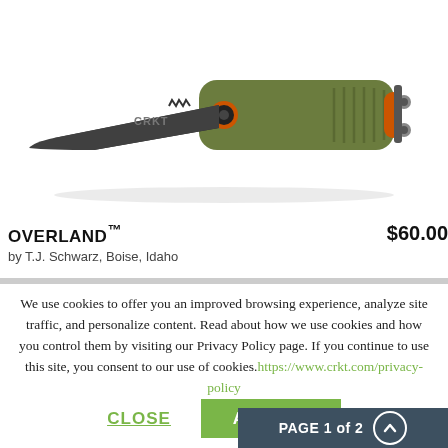[Figure (photo): CRKT Overland folding knife with a dark stonewashed blade and olive green G10 handle with orange accents, shown open on white background]
OVERLAND™
by T.J. Schwarz, Boise, Idaho
$60.00
We use cookies to offer you an improved browsing experience, analyze site traffic, and personalize content. Read about how we use cookies and how you control them by visiting our Privacy Policy page. If you continue to use this site, you consent to our use of cookies.https://www.crkt.com/privacy-policy
CLOSE
ACCEPT
PAGE 1 of 2